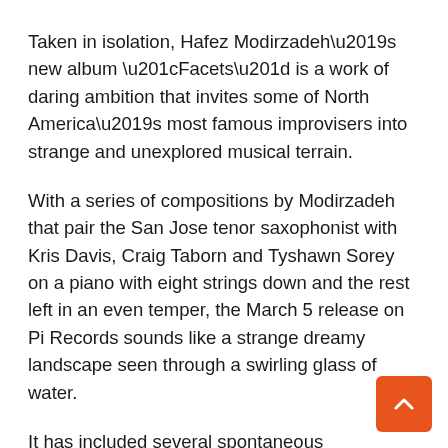Taken in isolation, Hafez Modirzadeh’s new album “Facets” is a work of daring ambition that invites some of North America’s most famous improvisers into strange and unexplored musical terrain.
With a series of compositions by Modirzadeh that pair the San Jose tenor saxophonist with Kris Davis, Craig Taborn and Tyshawn Sorey on a piano with eight strings down and the rest left in an even temper, the March 5 release on Pi Records sounds like a strange dreamy landscape seen through a swirling glass of water.
It has included several spontaneous improvisations for solo piano and pieces inspired